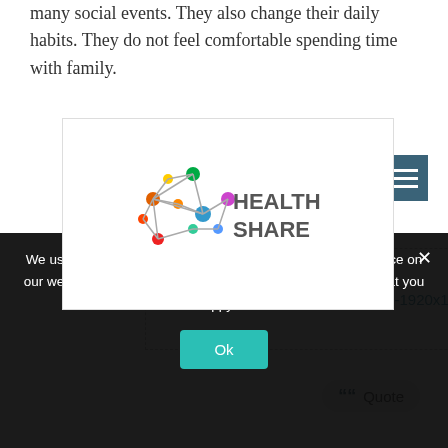many social events. They also change their daily habits. They do not feel comfortable spending time with family.
[Figure (logo): Health Share logo with network graphic and text]
[Figure (other): Image attachment placeholder: depression-1920x1280.jpg]
Quote
Topic Tags
stress
health
diet
We use cookies to ensure that we give you the best experience on our website. If you continue to use this site we will assume that you are happy with it.